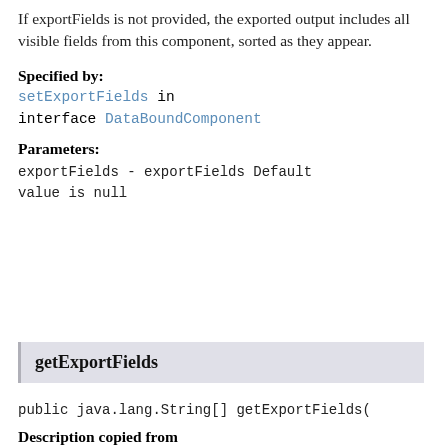If exportFields is not provided, the exported output includes all visible fields from this component, sorted as they appear.
Specified by:
setExportFields in interface DataBoundComponent
Parameters:
exportFields - exportFields Default value is null
getExportFields
public java.lang.String[] getExportFields()
Description copied from interface: DataBoundComponent
The list of field-names to export. If